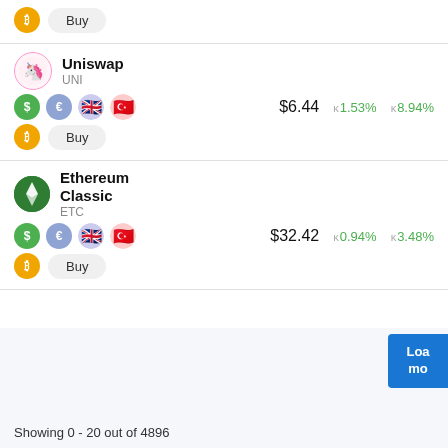Buy (Bitcoin row top)
Uniswap UNI $6.44 +1.53% +8.94% Buy
Ethereum Classic ETC $32.42 +0.94% +3.48% Buy
Showing 0 - 20 out of 4896